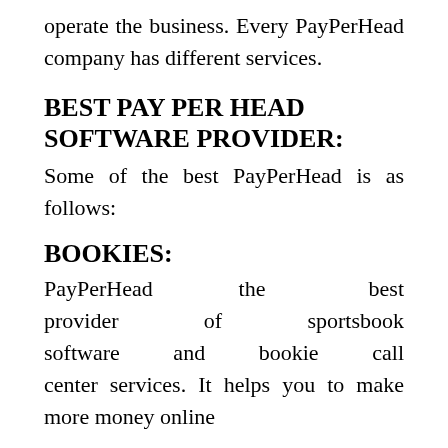operate the business. Every PayPerHead company has different services.
BEST PAY PER HEAD SOFTWARE PROVIDER:
Some of the best PayPerHead is as follows:
BOOKIES:
PayPerHead the best provider of sportsbook software and bookie call center services. It helps you to make more money online